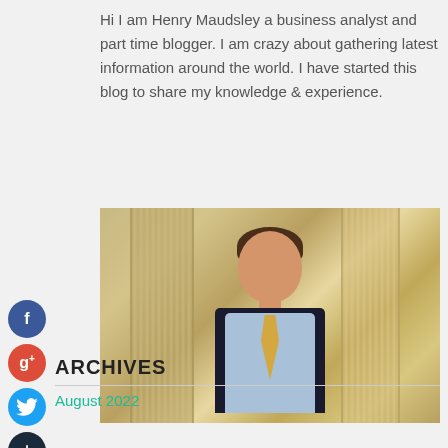Hi I am Henry Maudsley a business analyst and part time blogger. I am crazy about gathering latest information around the world. I have started this blog to share my knowledge & experience.
[Figure (photo): Portrait photo of a man in a dark suit, light blue shirt, and yellow tie, standing in front of classical columns. He is smiling at the camera.]
[Figure (infographic): Social media share buttons: Facebook (blue circle with f), Google+ (red circle with g+), Twitter (blue circle with bird icon), and a dark circle with + symbol]
ARCHIVES
August 2022